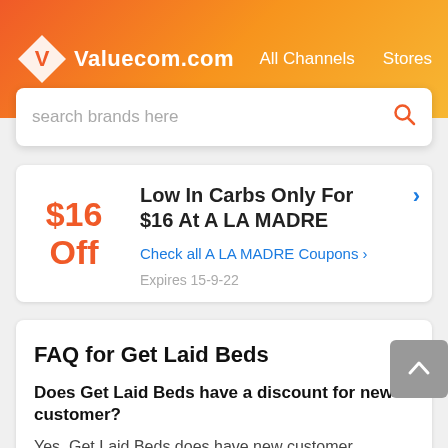Valuecom.com  All Channels  Stores
search brands here
$16 Off  Low In Carbs Only For $16 At A LA MADRE
Check all A LA MADRE Coupons >
Expires 15-9-22
FAQ for Get Laid Beds
Does Get Laid Beds have a discount for new customer?
Yes. Get Laid Beds does have new customer discount. If you are a new customer of Get Laid...